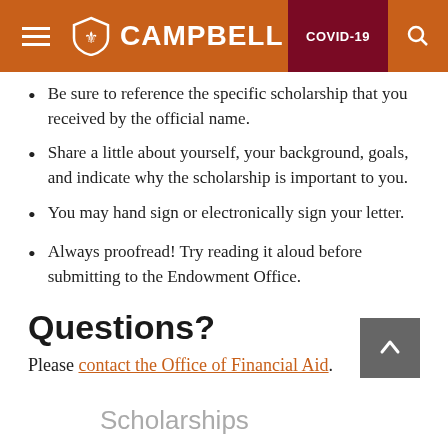Campbell University — COVID-19
Be sure to reference the specific scholarship that you received by the official name.
Share a little about yourself, your background, goals, and indicate why the scholarship is important to you.
You may hand sign or electronically sign your letter.
Always proofread! Try reading it aloud before submitting to the Endowment Office.
Questions?
Please contact the Office of Financial Aid.
Scholarships